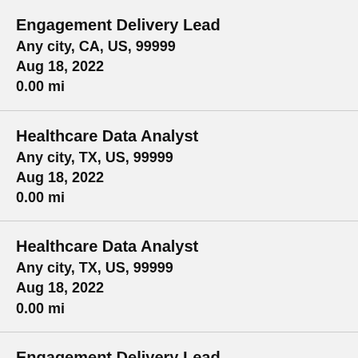Engagement Delivery Lead
Any city, CA, US, 99999
Aug 18, 2022
0.00 mi
Healthcare Data Analyst
Any city, TX, US, 99999
Aug 18, 2022
0.00 mi
Healthcare Data Analyst
Any city, TX, US, 99999
Aug 18, 2022
0.00 mi
Engagement Delivery Lead
Any city, OH, US, 99999
Aug 18, 2022
0.00 mi